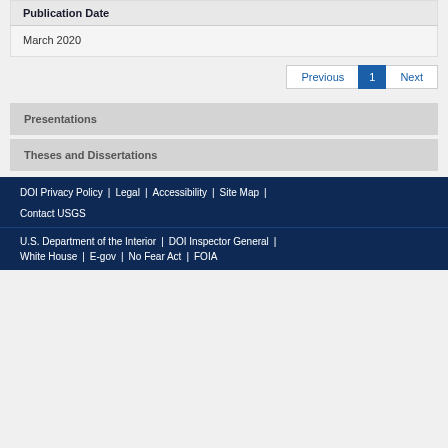| Publication Date |
| --- |
| March 2020 |
Previous 1 Next
Presentations
Theses and Dissertations
DOI Privacy Policy | Legal | Accessibility | Site Map | Contact USGS
U.S. Department of the Interior | DOI Inspector General | White House | E-gov | No Fear Act | FOIA